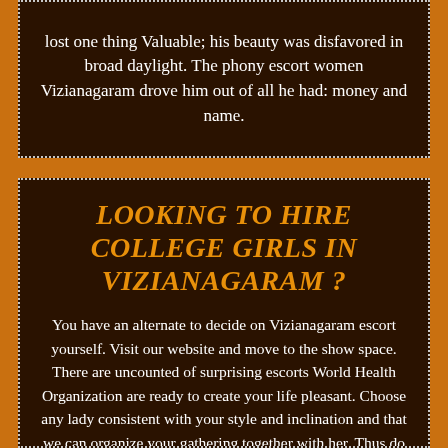lost one thing Valuable; his beauty was disfavored in broad daylight. The phony escort women Vizianagaram drove him out of all he had: money and name.
LOOKING TO HIRE COLLEGE GIRLS IN VIZIANAGARAM ?
You have an alternate to decide on Vizianagaram escort yourself. Visit our website and move to the show space. There are uncounted of surprising escorts World Health Organization are ready to create your life pleasant. Choose any lady consistent with your style and inclination and that we can organize your gathering together with her. Thus do not